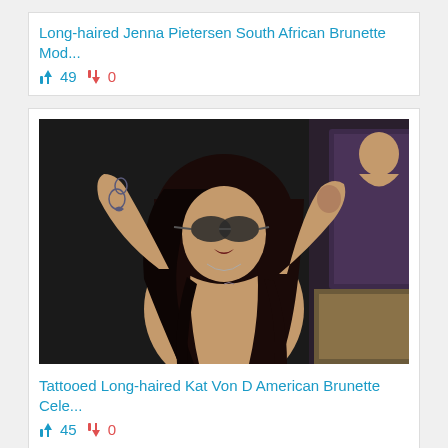Long-haired Jenna Pietersen South African Brunette Mod...
👍 49 👎 0
[Figure (photo): Dark-haired tattooed woman with sunglasses posing with arms raised, tattoos visible on arms, dark moody background]
Tattooed Long-haired Kat Von D American Brunette Cele...
👍 45 👎 0
[Figure (photo): Blonde woman posing against pink background, partially visible at bottom of page]